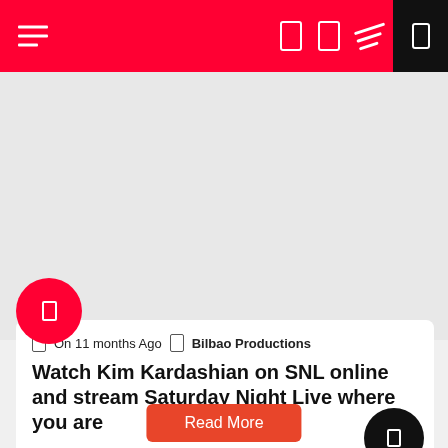Navigation bar with hamburger menu, bookmark icons, striped icon, and black panel
[Figure (screenshot): Gray placeholder area for media content]
On 11 months Ago  Bilbao Productions
Watch Kim Kardashian on SNL online and stream Saturday Night Live where you are
Watch Kim Kardashian on SNL online and stream Saturday Night Live where you are https://ift.tt/3Au6PPs It was inevitable really that Kim…
Read More